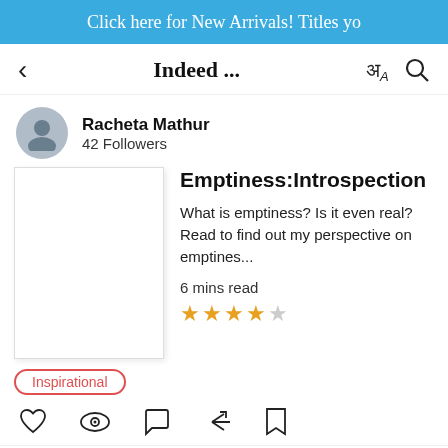Click here for New Arrivals! Titles yo
Indeed ...
Racheta Mathur
42 Followers
[Figure (illustration): Book cover placeholder (blank white rectangle)]
Emptiness:Introspection
What is emptiness? Is it even real? Read to find out my perspective on emptines...
6 mins read
★★★★☆
Inspirational
♡  👁  ↩  🔖
♡ 0   ○ 0   ↗   🔖